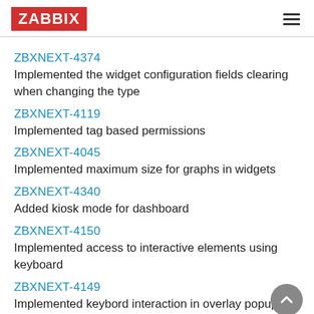ZABBIX
ZBXNEXT-4374
Implemented the widget configuration fields clearing when changing the type
ZBXNEXT-4119
Implemented tag based permissions
ZBXNEXT-4045
Implemented maximum size for graphs in widgets
ZBXNEXT-4340
Added kiosk mode for dashboard
ZBXNEXT-4150
Implemented access to interactive elements using keyboard
ZBXNEXT-4149
Implemented keybord interaction in overlay popups